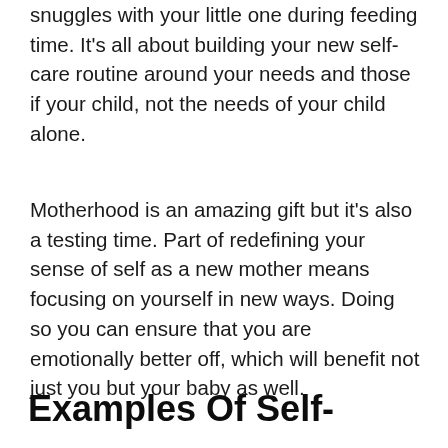snuggles with your little one during feeding time. It's all about building your new self-care routine around your needs and those if your child, not the needs of your child alone.
Motherhood is an amazing gift but it's also a testing time. Part of redefining your sense of self as a new mother means focusing on yourself in new ways. Doing so you can ensure that you are emotionally better off, which will benefit not just you but your baby as well.
Examples Of Self-